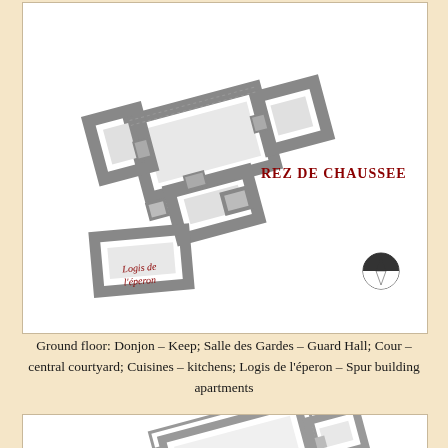[Figure (illustration): Architectural floor plan of a castle ground floor (Rez de Chaussee), showing rooms including Logis de l'éperon labeled in red, with a north arrow compass symbol. Plan is drawn at an angle with thick walls shown in grey hatching.]
Ground floor: Donjon – Keep; Salle des Gardes – Guard Hall; Cour – central courtyard; Cuisines – kitchens; Logis de l'éperon – Spur building apartments
[Figure (illustration): Architectural floor plan of a castle upper floor, showing rooms with thick grey walls, drawn at an angle similar to the ground floor plan above.]